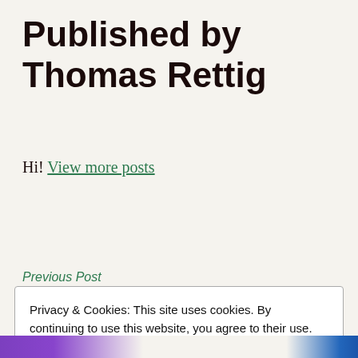Published by Thomas Rettig
Hi! View more posts
Previous Post
Privacy & Cookies: This site uses cookies. By continuing to use this website, you agree to their use.
To find out more, including how to control cookies, see here: Cookie Policy
Close and accept